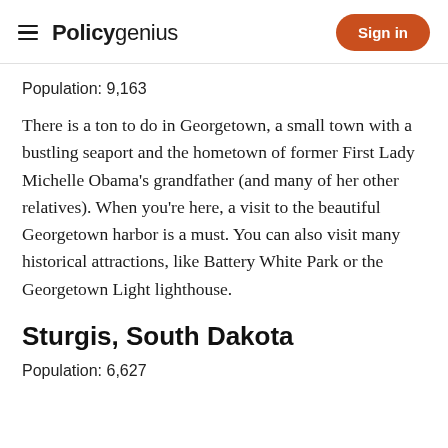Policygenius — Sign in
Population: 9,163
There is a ton to do in Georgetown, a small town with a bustling seaport and the hometown of former First Lady Michelle Obama's grandfather (and many of her other relatives). When you're here, a visit to the beautiful Georgetown harbor is a must. You can also visit many historical attractions, like Battery White Park or the Georgetown Light lighthouse.
Sturgis, South Dakota
Population: 6,627